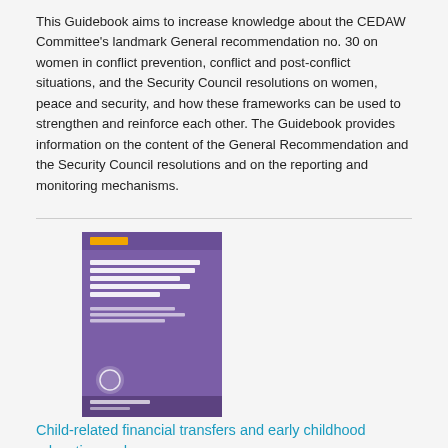This Guidebook aims to increase knowledge about the CEDAW Committee's landmark General recommendation no. 30 on women in conflict prevention, conflict and post-conflict situations, and the Security Council resolutions on women, peace and security, and how these frameworks can be used to strengthen and reinforce each other. The Guidebook provides information on the content of the General Recommendation and the Security Council resolutions and on the reporting and monitoring mechanisms.
[Figure (photo): Book cover with purple background titled 'Child-related financial transfers and early childhood education and care']
Child-related financial transfers and early childhood education and care
Date: Monday, 6 July 2015
This paper examines policies for the support of families with children, in particular child-related financial transfers and early childhood education and care (ECEC) services, primarily in Western European and other Organisation for Economic Co-operation and